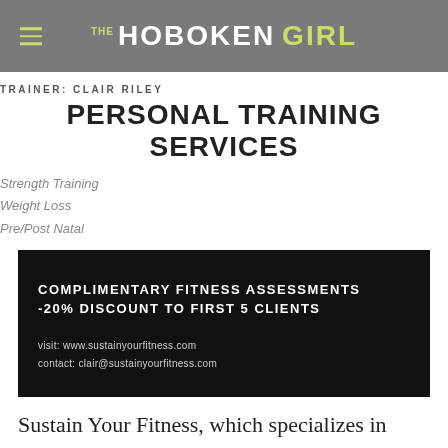THE HOBOKEN GIRL
TRAINER: CLAIR RILEY
PERSONAL TRAINING SERVICES
Strength Training
Weight Loss
Pre/Post Natal
[Figure (infographic): Black banner with white text: COMPLIMENTARY FITNESS ASSESSMENTS -20% DISCOUNT TO FIRST 5 CLIENTS. visit: www.sustainyourfitness.com contact: clair@sustainyourfitness.com]
Sustain Your Fitness, which specializes in